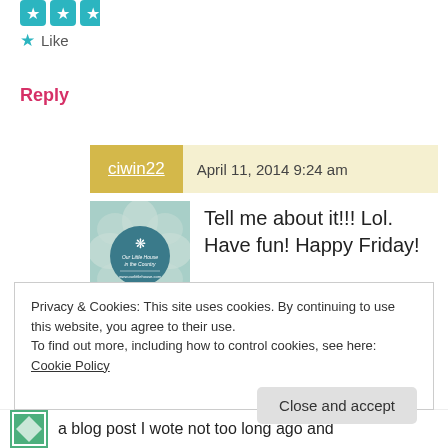★ Like
Reply
ciwin22  April 11, 2014 9:24 am
[Figure (illustration): Blog avatar image with floral pattern and circular text badge reading 'Our Little House in the Country']
Tell me about it!!! Lol. Have fun! Happy Friday!
★ Like
Reply
Privacy & Cookies: This site uses cookies. By continuing to use this website, you agree to their use.
To find out more, including how to control cookies, see here: Cookie Policy
Close and accept
a blog post I wote not too long ago and